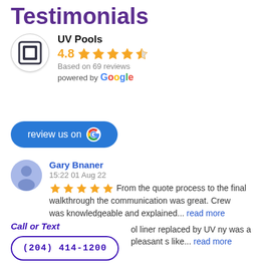Testimonials
UV Pools
4.8
Based on 69 reviews
powered by Google
review us on G
Gary Bnaner
15:22 01 Aug 22
★★★★★ From the quote process to the final walkthrough the communication was great. Crew was knowledgeable and explained... read more
Lynn Lessard
19:11 22 Jul 22
ol liner replaced by UV ny was a pleasant s like... read more
Call or Text
(204) 414-1200